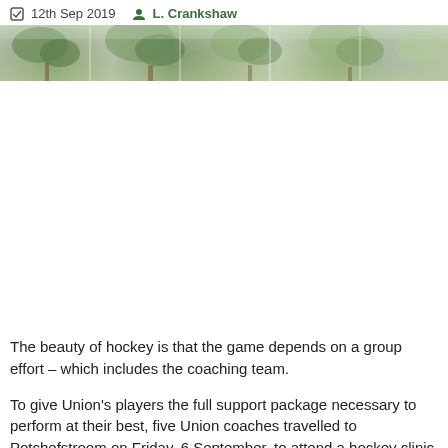12th Sep 2019  L. Crankshaw
[Figure (photo): A horizontal strip of outdoor nature/tree photographs stitched together showing trees and foliage]
The beauty of hockey is that the game depends on a group effort – which includes the coaching team.
To give Union's players the full support package necessary to perform at their best, five Union coaches travelled to Potchefstroom on Friday, 6 September, to attend a hockey clinic hosted by the Investec Hockey Academy at North West